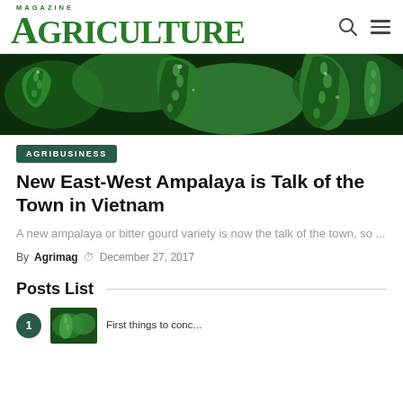AGRICULTURE MAGAZINE
[Figure (photo): Close-up photo of bitter gourd (ampalaya) vegetables, showing their bumpy green surface with water droplets]
AGRIBUSINESS
New East-West Ampalaya is Talk of the Town in Vietnam
A new ampalaya or bitter gourd variety is now the talk of the town, so ...
By Agrimag  December 27, 2017
Posts List
[Figure (photo): Small thumbnail image of green vegetables]